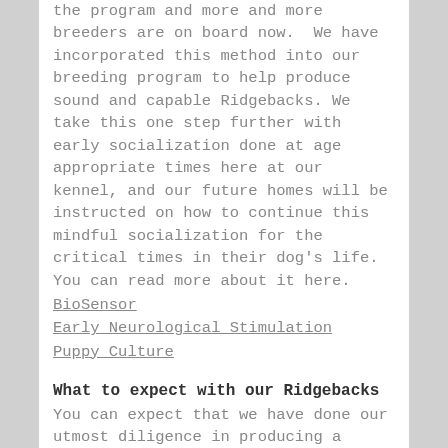the program and more and more breeders are on board now. We have incorporated this method into our breeding program to help produce sound and capable Ridgebacks. We take this one step further with early socialization done at age appropriate times here at our kennel, and our future homes will be instructed on how to continue this mindful socialization for the critical times in their dog's life. You can read more about it here.
BioSensor
Early Neurological Stimulation
Puppy Culture
What to expect with our Ridgebacks
You can expect that we have done our utmost diligence in producing a healthy, ridgeback with an even temperament. You can expect us to be the resource to help answer questions or help